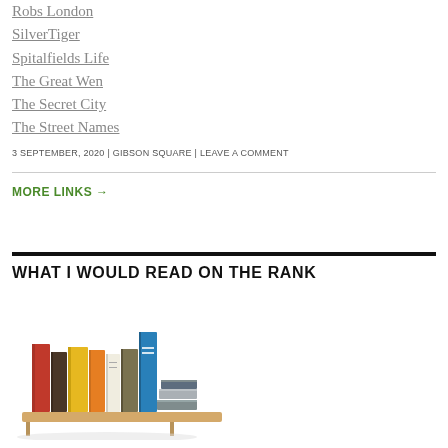Robs London
SilverTiger
Spitalfields Life
The Great Wen
The Secret City
The Street Names
3 SEPTEMBER, 2020 | GIBSON SQUARE | LEAVE A COMMENT
MORE LINKS →
WHAT I WOULD READ ON THE RANK
[Figure (illustration): Illustration of colorful books standing upright on a wooden bookshelf, with additional books lying flat on the right side]